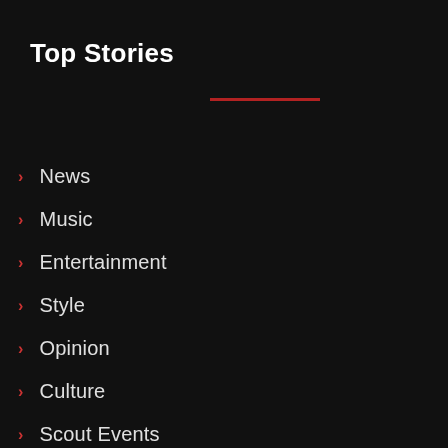Top Stories
News
Music
Entertainment
Style
Opinion
Culture
Scout Events
Inquirer.net
Lifestyle